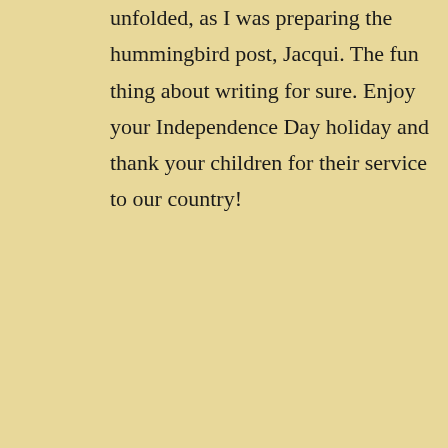unfolded, as I was preparing the hummingbird post, Jacqui. The fun thing about writing for sure. Enjoy your Independence Day holiday and thank your children for their service to our country!
★ Liked by 1 person
Jacqui Murray
JULY 3, 2021 AT 9:00 AM
Privacy & Cookies: This site uses cookies. By continuing to use this website, you agree to their use.
To find out more, including how to control cookies, see here: Cookie Policy
Close and accept
Tofino Photography